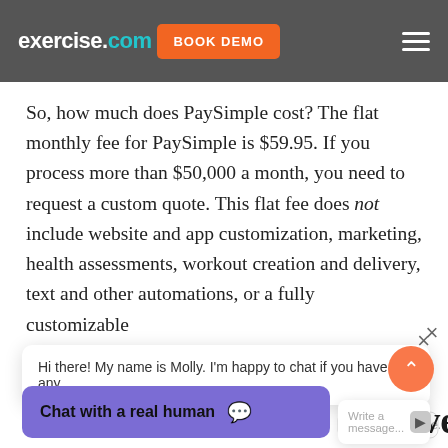exercise.com BOOK DEMO
So, how much does PaySimple cost? The flat monthly fee for PaySimple is $59.95. If you process more than $50,000 a month, you need to request a custom quote. This flat fee does not include website and app customization, marketing, health assessments, workout creation and delivery, text and other automations, or a fully customizable ecommerce system. You will need other software...
Hi there! My name is Molly. I'm happy to chat if you have any...
Write a message...
Chat with a real human
natives